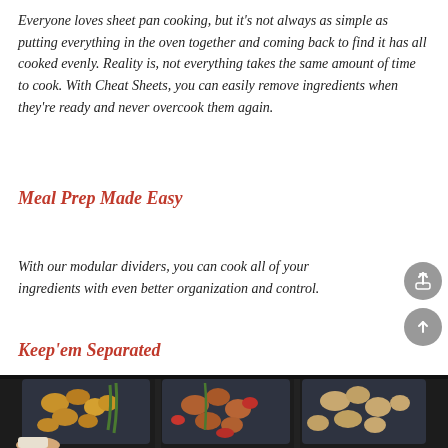Everyone loves sheet pan cooking, but it's not always as simple as putting everything in the oven together and coming back to find it has all cooked evenly. Reality is, not everything takes the same amount of time to cook. With Cheat Sheets, you can easily remove ingredients when they're ready and never overcook them again.
Meal Prep Made Easy
With our modular dividers, you can cook all of your ingredients with even better organization and control.
Keep'em Separated
[Figure (photo): Three dark sheet pan divider sections inside an oven, each filled with different cooked food items: left section has golden nuggets with green onions, middle section has meat with vegetables and red peppers, right section has seasoned chicken pieces. A hand with a white cloth is partially visible at bottom left.]